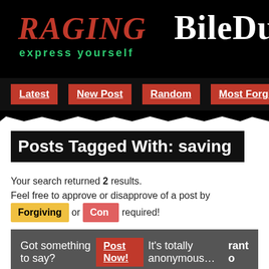RAGING BileDuct express yourself
Latest | New Post | Random | Most Forgiven | Most Co...
Posts Tagged With: saving
Your search returned 2 results.
Feel free to approve or disapprove of a post by Forgiving or Cond... required!
Got something to say? Post Now! It's totally anonymous... rant o...
Disgruntled Brit  16  30
I know you'll all condemn this given that you fall into the category you... I've come to realise that I've literally never met an American who doe... hyper-inflated ego, doesn't have some witty comment about "Savin...